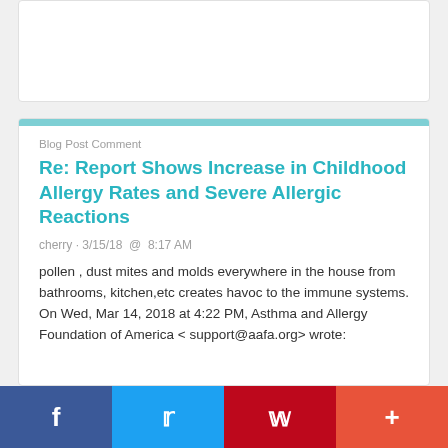Blog Post Comment
Re: Report Shows Increase in Childhood Allergy Rates and Severe Allergic Reactions
cherry · 3/15/18 @  8:17 AM
pollen , dust mites and molds everywhere in the house from bathrooms, kitchen,etc creates havoc to the immune systems. On Wed, Mar 14, 2018 at 4:22 PM, Asthma and Allergy Foundation of America < support@aafa.org> wrote: